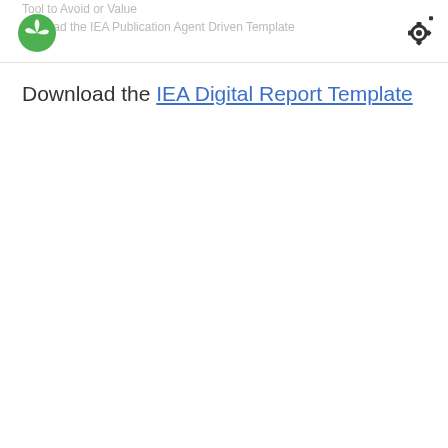Tool to Avoid or Value ... Download the IEA Publication Agent Driven Template
[Figure (logo): IEA green three-leaf logo]
[Figure (other): Settings gear icon]
Download the IEA Digital Report Template